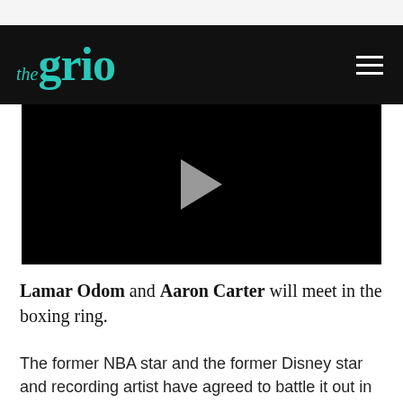the grio
[Figure (screenshot): Black video player area with a white/gray play button triangle in the center]
Lamar Odom and Aaron Carter will meet in the boxing ring.
The former NBA star and the former Disney star and recording artist have agreed to battle it out in the ring in June. Both men have already started